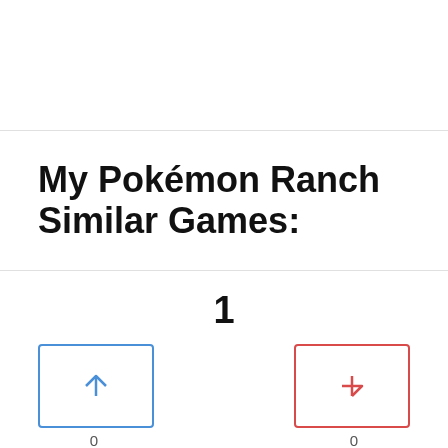My Pokémon Ranch Similar Games:
1
[Figure (other): Upvote button (blue border with up arrow) and downvote button (red border with down arrow), each showing a count of 0 below]
[Figure (photo): Partial image of colorful Pokemon characters at the bottom of the page]